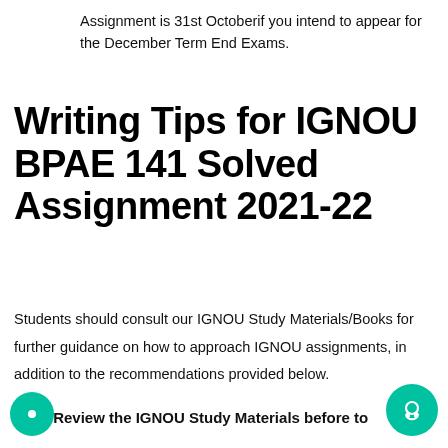Assignment is 31st Octoberif you intend to appear for the December Term End Exams.
Writing Tips for IGNOU BPAE 141 Solved Assignment 2021-22
Students should consult our IGNOU Study Materials/Books for further guidance on how to approach IGNOU assignments, in addition to the recommendations provided below.
) Review the IGNOU Study Materials before to